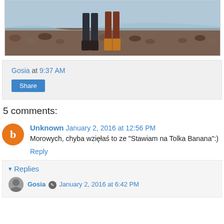[Figure (photo): Two people standing on a rocky beach, legs visible, ocean waves in background]
Gosia at 9:37 AM
Share
5 comments:
Unknown  January 2, 2016 at 12:56 PM
Morowych, chyba wzięłaś to ze "Stawiam na Tolka Banana":)
Reply
▾ Replies
Gosia  January 2, 2016 at 6:42 PM